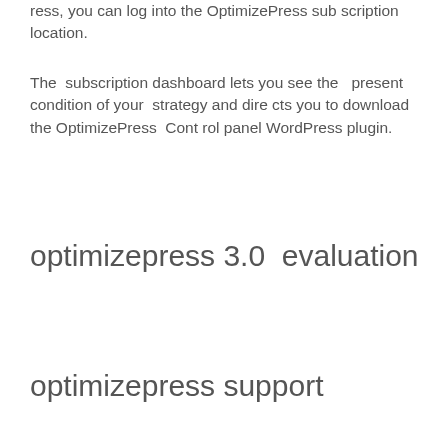ress, you can log into the OptimizePress subscription location.
The subscription dashboard lets you see the present condition of your strategy and directs you to download the OptimizePress Control panel WordPress plugin.
optimizepress 3.0 evaluation
optimizepress support